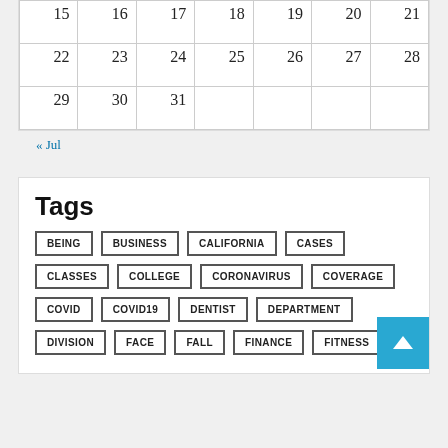| 15 | 16 | 17 | 18 | 19 | 20 | 21 |
| 22 | 23 | 24 | 25 | 26 | 27 | 28 |
| 29 | 30 | 31 |  |  |  |  |
« Jul
Tags
BEING
BUSINESS
CALIFORNIA
CASES
CLASSES
COLLEGE
CORONAVIRUS
COVERAGE
COVID
COVID19
DENTIST
DEPARTMENT
DIVISION
FACE
FALL
FINANCE
FITNESS